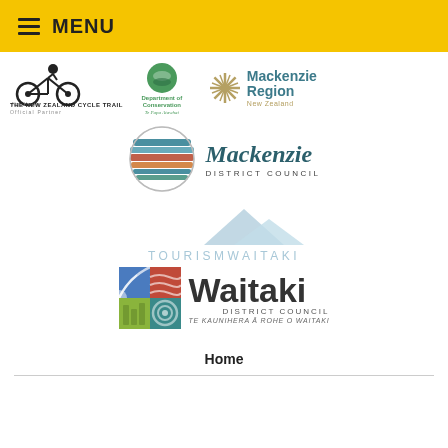MENU
[Figure (logo): NZ Cycle Trail Official Partner logo, Department of Conservation logo (Te Papa Atawhai), Mackenzie Region New Zealand logo]
[Figure (logo): Mackenzie District Council logo with striped globe icon]
[Figure (logo): Tourism Waitaki logo with mountain silhouette and text TOURISMWAITAKI]
[Figure (logo): Waitaki District Council logo with colorful square icon and text Waitaki DISTRICT COUNCIL TE KAUNIHERA A ROHE O WAITAKI]
Home